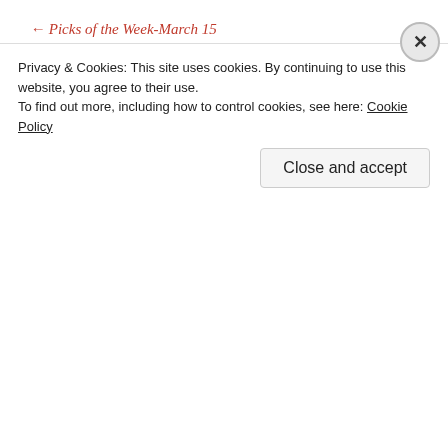← Picks of the Week-March 15
Picks of the Week-March 29 →
Leave a Reply
Your email address will not be published. Required fields are marked *
Privacy & Cookies: This site uses cookies. By continuing to use this website, you agree to their use. To find out more, including how to control cookies, see here: Cookie Policy
Close and accept